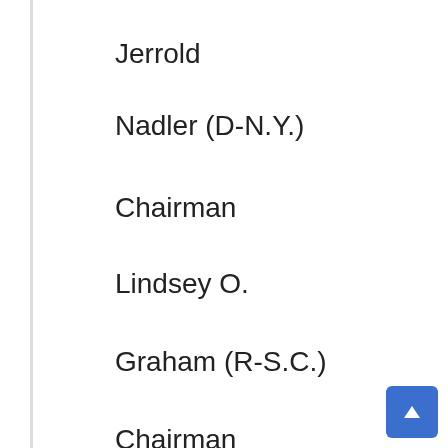Jerrold
Nadler (D-N.Y.)
Chairman
Lindsey O.
Graham (R-S.C.)
Chairman
[Figure (organizational-chart): Organizational flowchart showing a person (William Barr) in a circular photo at top, connected by a line to a gray rectangle box, which has a downward arrow pointing to a partially visible capitol building circle at the bottom.]